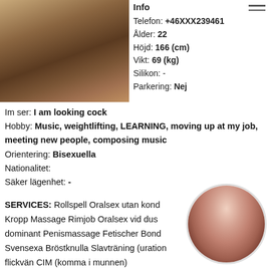[Figure (photo): Photo of a person from behind/side, wearing high heels, standing on a rug]
Info
Telefon: +46XXX239461
Ålder: 22
Höjd: 166 (cm)
Vikt: 69 (kg)
Silikon: -
Parkering: Nej
Im ser: I am looking cock
Hobby: Music, weightlifting, LEARNING, moving up at my job, meeting new people, composing music
Orientering: Bisexuella
Nationalitet:
Säker lägenhet: -
SERVICES: Rollspell Oralsex utan kond Kropp Massage Rimjob Oralsex vid dus dominant Penismassage Fetischer Bond Svensexa Bröstknulla Slavträning (uration flickvän CIM (komma i munnen) Högklackat/stövlar
[Figure (photo): Circular thumbnail photo of a dark-haired woman]